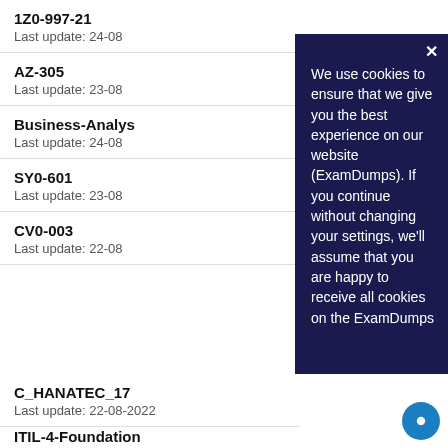1Z0-997-21
Last update: 24-08
AZ-305
Last update: 23-08
Business-Analys
Last update: 24-08
SY0-601
Last update: 23-08
CV0-003
Last update: 22-08
We use cookies to ensure that we give you the best experience on our website (ExamDumps). If you continue without changing your settings, we'll assume that you are happy to receive all cookies on the ExamDumps
C_HANATEC_17
Last update: 22-08-2022
ITIL-4-Foundation
Last update: 22-08-2022